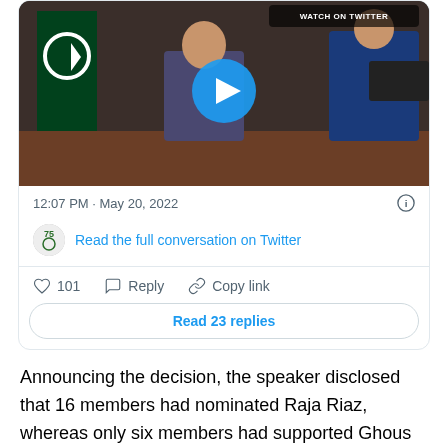[Figure (screenshot): Embedded tweet/Twitter card showing a video thumbnail of a man in a suit at a desk with a Pakistani flag, a play button overlay, timestamp '12:07 PM · May 20, 2022', a 'Read the full conversation on Twitter' link, action buttons (101 likes, Reply, Copy link), and a 'Read 23 replies' button.]
Announcing the decision, the speaker disclosed that 16 members had nominated Raja Riaz, whereas only six members had supported Ghous Bux Mahar of the GDA for the office of the opposition leader.